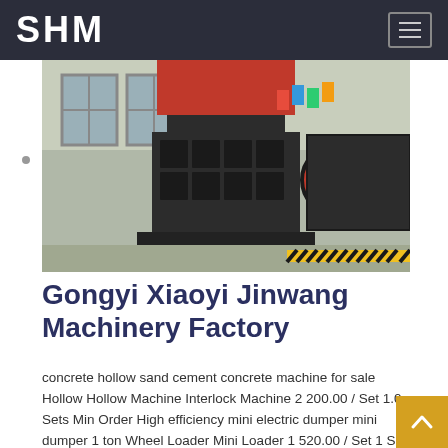SHM
[Figure (photo): Industrial machinery factory floor showing large crushing/processing equipment in dark metal, with red machinery in background, flags visible, industrial warehouse setting]
Gongyi Xiaoyi Jinwang Machinery Factory
concrete hollow sand cement concrete machine for sale Hollow Hollow Machine Interlock Machine 2 200.00 / Set 1.0 Sets Min Order High efficiency mini electric dumper mini dumper 1 ton Wheel Loader Mini Loader 1 520.00 / Set 1 Set Min Order Electric st diesel mini truck cargo tricycle underground small